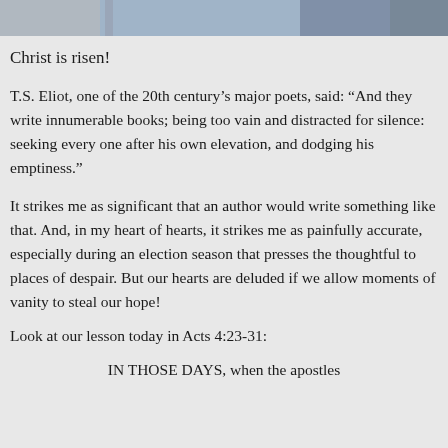[Figure (photo): Partial photo strip at top of page showing people outdoors, cropped]
Christ is risen!
T.S. Eliot, one of the 20th century's major poets, said: “And they write innumerable books; being too vain and distracted for silence: seeking every one after his own elevation, and dodging his emptiness.”
It strikes me as significant that an author would write something like that. And, in my heart of hearts, it strikes me as painfully accurate, especially during an election season that presses the thoughtful to places of despair. But our hearts are deluded if we allow moments of vanity to steal our hope!
Look at our lesson today in Acts 4:23-31:
IN THOSE DAYS, when the apostles